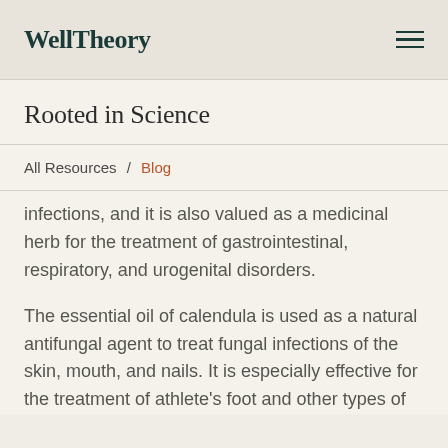WellTheory
Rooted in Science
All Resources / Blog
infections, and it is also valued as a medicinal herb for the treatment of gastrointestinal, respiratory, and urogenital disorders.
The essential oil of calendula is used as a natural antifungal agent to treat fungal infections of the skin, mouth, and nails. It is especially effective for the treatment of athlete's foot and other types of